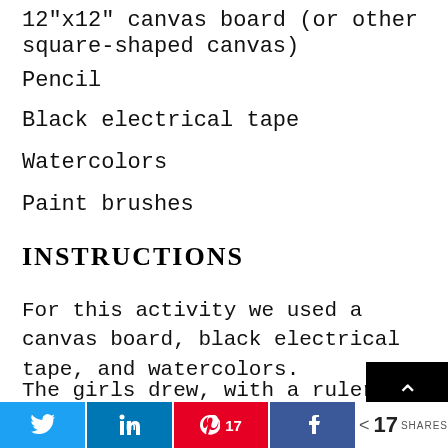12"x12" canvas board (or other square-shaped canvas)
Pencil
Black electrical tape
Watercolors
Paint brushes
INSTRUCTIONS
For this activity we used a canvas board, black electrical tape, and watercolors.
The girls drew, with a ruler and in pencil, a [image] on
[Figure (other): Black back-to-top button with white upward chevron arrow]
[Figure (other): Social share bar with Twitter, LinkedIn, Pinterest (17), Facebook buttons and share count 17 SHARES]